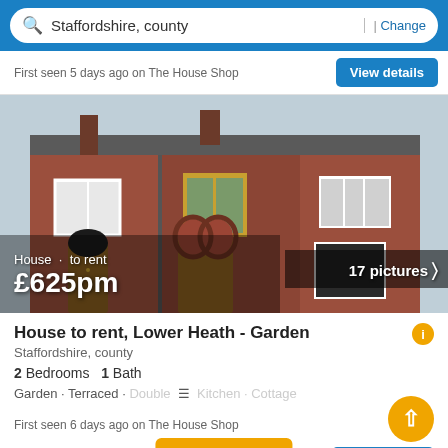Staffordshire, county | Change
First seen 5 days ago on The House Shop
[Figure (photo): Exterior photo of a red brick terraced house with grey roof, wooden front doors and windows. Text overlay shows '17 pictures', 'House · to rent', '£625pm']
House to rent, Lower Heath - Garden
Staffordshire, county
2 Bedrooms  1 Bath
Garden · Terraced · Double · Kitchen · Cottage
First seen 6 days ago on The House Shop